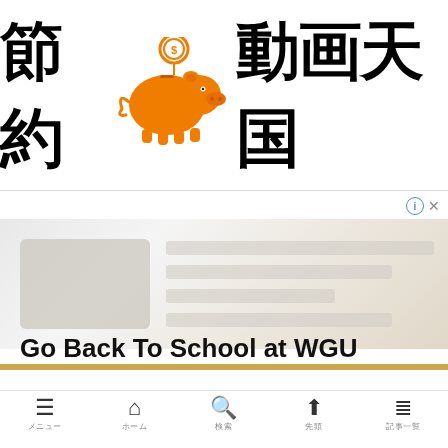[Figure (logo): Japanese website logo: 節約 (piggy bank icon with coin) 動画天国 in large bold black text with an orange piggy bank and coin graphic in the center]
[Figure (screenshot): Advertisement banner for WGU (Western Governors University) - Go Back To School at WGU, with blurred background imagery and a gold stripe]
[Figure (infographic): Mobile bottom navigation bar with 5 icons: hamburger menu (メニュー), home (ホーム), search (検索), up arrow (先頭), and list (記事一覧)]